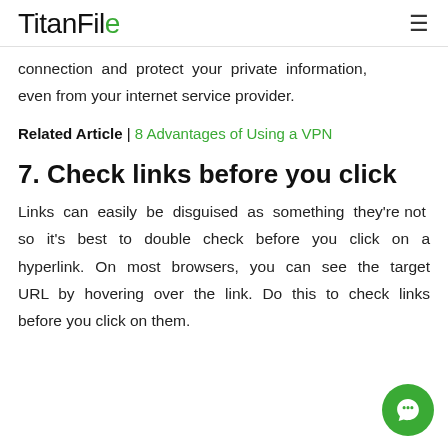TitanFile
connection and protect your private information, even from your internet service provider.
Related Article | 8 Advantages of Using a VPN
7. Check links before you click
Links can easily be disguised as something they're not so it's best to double check before you click on a hyperlink. On most browsers, you can see the target URL by hovering over the link. Do this to check links before you click on them.